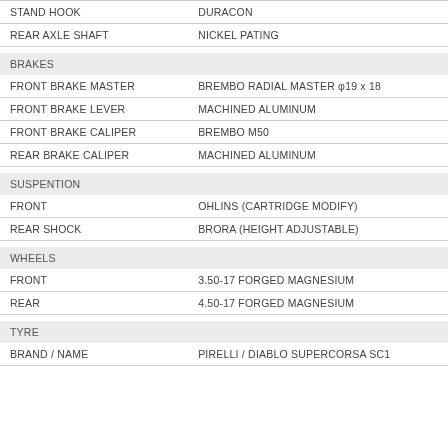| Component | Specification |
| --- | --- |
| STAND HOOK | DURACON |
| REAR AXLE SHAFT | NICKEL PATING |
| BRAKES |  |
| FRONT BRAKE MASTER | BREMBO RADIAL MASTER φ19 x 18 |
| FRONT BRAKE LEVER | MACHINED ALUMINUM |
| FRONT BRAKE CALIPER | BREMBO M50 |
| REAR BRAKE CALIPER | MACHINED ALUMINUM |
| SUSPENTION |  |
| FRONT | OHLINS (CARTRIDGE MODIFY) |
| REAR SHOCK | BRORA (HEIGHT ADJUSTABLE) |
| WHEELS |  |
| FRONT | 3.50-17 FORGED MAGNESIUM |
| REAR | 4.50-17 FORGED MAGNESIUM |
| TYRE |  |
| BRAND / NAME | PIRELLI / DIABLO SUPERCORSA SC1 |